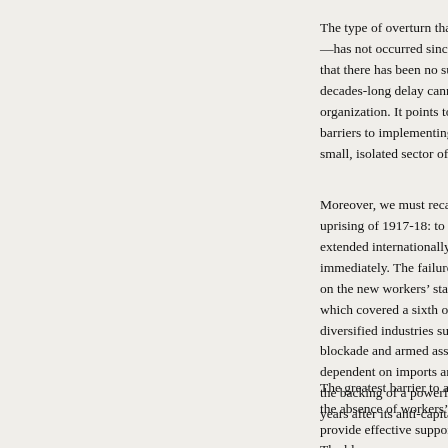The type of overturn that Webber describes—which I w—has not occurred since Cuba's revolution of 1959-62. that there has been no successful socialist revolution a decades-long delay cannot be put down to inadequacie organization. It points to the existence of deep-rooted c barriers to implementing a socialist agenda, which cann small, isolated sector of the world.
Moreover, we must recall the overriding lesson of the gr uprising of 1917-18: to survive and flourish, the revoluti extended internationally. That was true not just "ultimate immediately. The failure of revolution outside Russia ha on the new workers' state that was keenly felt by 1919. which covered a sixth of the world's surface, possesse diversified industries sufficient to enable it to withstand blockade and armed assault. Bolivia, by contrast, has a dependent on imports and exports, and does not have the backing of a powerful sponsor such as that enjoyed years after its anti-capitalist revolution.
The greatest barrier to a socialist overturn in Bolivia is n the absence of workers' governments in economically a provide effective support.
The bl...